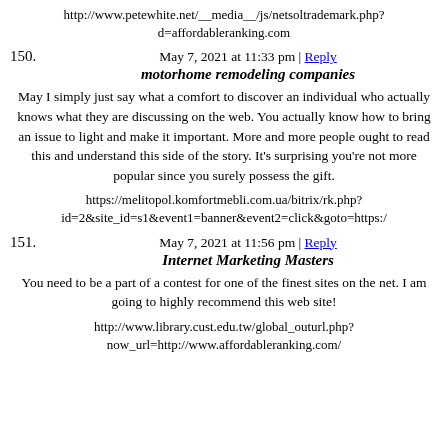http://www.petewhite.net/__media__/js/netsoltrademark.php?d=affordableranking.com
150. May 7, 2021 at 11:33 pm | Reply
motorhome remodeling companies
May I simply just say what a comfort to discover an individual who actually knows what they are discussing on the web. You actually know how to bring an issue to light and make it important. More and more people ought to read this and understand this side of the story. It's surprising you're not more popular since you surely possess the gift.
https://melitopol.komfortmebli.com.ua/bitrix/rk.php?id=2&site_id=s1&event1=banner&event2=click&goto=https:/
151. May 7, 2021 at 11:56 pm | Reply
Internet Marketing Masters
You need to be a part of a contest for one of the finest sites on the net. I am going to highly recommend this web site!
http://www.library.cust.edu.tw/global_outurl.php?now_url=http://www.affordableranking.com/